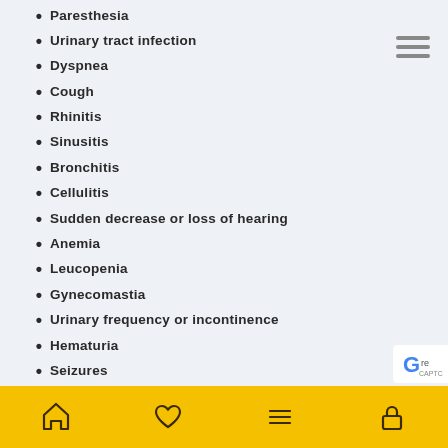Paresthesia
Urinary tract infection
Dyspnea
Cough
Rhinitis
Sinusitis
Bronchitis
Cellulitis
Sudden decrease or loss of hearing
Anemia
Leucopenia
Gynecomastia
Urinary frequency or incontinence
Hematuria
Seizures
Cerebrovascular hemorrhage
Transient ischemic attack
Palpitations
Syncope
Home | Favorites | Menu | Lock